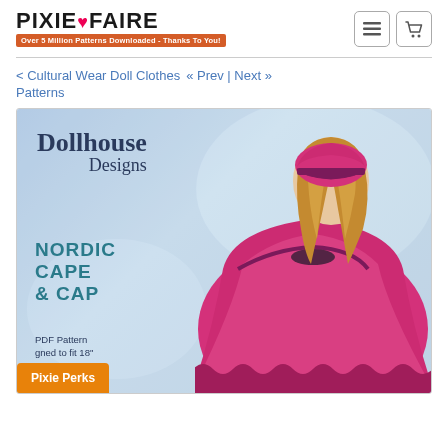[Figure (logo): Pixie Faire logo with heart icon and orange banner 'Over 5 Million Patterns Downloaded - Thanks To You!']
< Cultural Wear Doll Clothes   « Prev | Next » Patterns
[Figure (photo): Product cover image for Dollhouse Designs Nordic Cape & Cap pattern. Shows a doll from behind wearing a bright pink/magenta cape with scalloped edges and matching cap with dark purple band. Text reads: Dollhouse Designs, NORDIC CAPE & CAP, PDF Pattern designed to fit 18" dolls such as. Background is light blue-grey.]
Pixie Perks